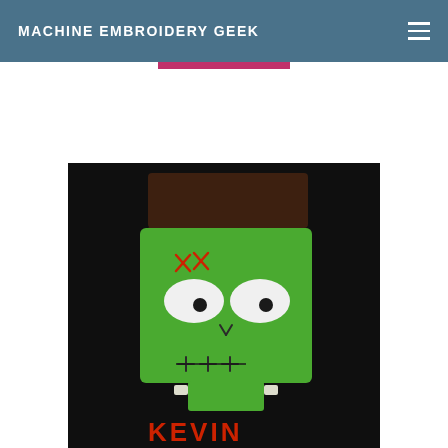MACHINE EMBROIDERY GEEK
[Figure (photo): A Frankenstein monster face machine embroidery applique on a black fabric shirt. The design shows a green rectangular monster face with dark brown hair on top with zigzag edges, red X-shaped scar stitching on the forehead, white oval eyes with dark pupils, a small stitched nose, and a mouth with cross-stitch lines. At the bottom of the image, red text reads KEVIN.]